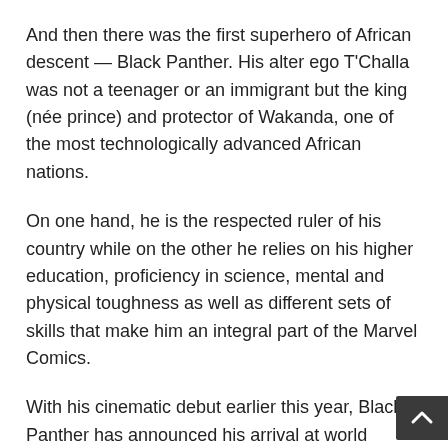And then there was the first superhero of African descent — Black Panther. His alter ego T'Challa was not a teenager or an immigrant but the king (née prince) and protector of Wakanda, one of the most technologically advanced African nations.
On one hand, he is the respected ruler of his country while on the other he relies on his higher education, proficiency in science, mental and physical toughness as well as different sets of skills that make him an integral part of the Marvel Comics.
With his cinematic debut earlier this year, Black Panther has announced his arrival at world stage; he is likely to play an important part in the upcoming Avengers movie as well, since the battle against Thanos took place on his land, in his country and under his command.
Published in Dawn, Young World, November 17th, 20